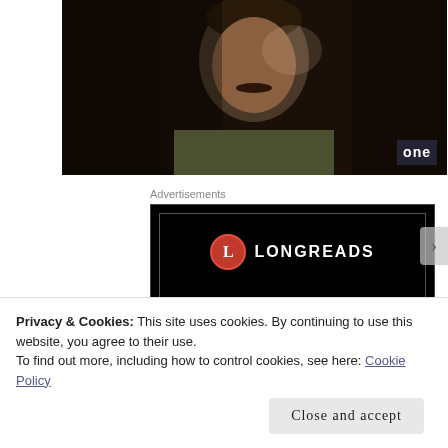[Figure (photo): A man with a mustache in military/casual clothing, partial face visible, dark moody lighting. BBC One watermark in bottom right corner.]
Advertisements
[Figure (screenshot): Longreads advertisement banner on black background. Shows Longreads logo (red circle with L) and text 'Read anything great lately?']
Privacy & Cookies: This site uses cookies. By continuing to use this website, you agree to their use.
To find out more, including how to control cookies, see here: Cookie Policy
Close and accept